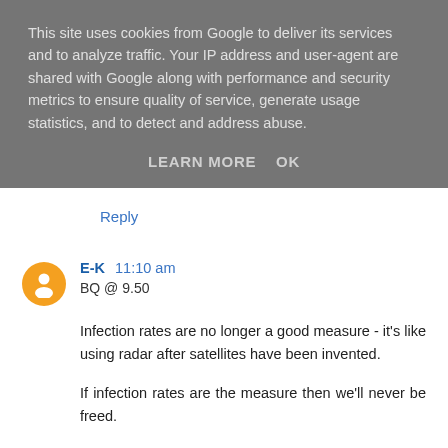This site uses cookies from Google to deliver its services and to analyze traffic. Your IP address and user-agent are shared with Google along with performance and security metrics to ensure quality of service, generate usage statistics, and to detect and address abuse.
LEARN MORE   OK
Reply
E-K  11:10 am
BQ @ 9.50
Infection rates are no longer a good measure - it's like using radar after satellites have been invented.
If infection rates are the measure then we'll never be freed.